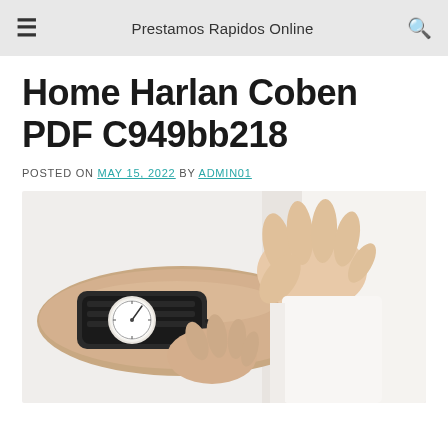Prestamos Rapidos Online
Home Harlan Coben PDF C949bb218
POSTED ON MAY 15, 2022 BY ADMIN01
[Figure (photo): A medical professional taking blood pressure measurement on a patient's arm using a sphygmomanometer. Close-up view of hands and blood pressure cuff on white background.]